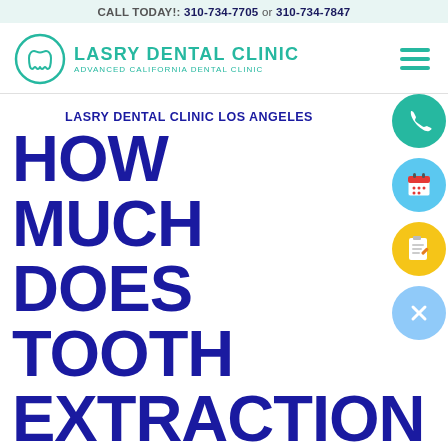CALL TODAY!: 310-734-7705 or 310-734-7847
[Figure (logo): Lasry Dental Clinic logo with tooth icon, teal text reading LASRY DENTAL CLINIC and subtitle ADVANCED CALIFORNIA DENTAL CLINIC]
LASRY DENTAL CLINIC LOS ANGELES
HOW MUCH DOES TOOTH EXTRACTION COST AND DO
[Figure (infographic): Three floating circular icons on the right side: green phone icon, blue calendar icon, yellow clipboard/form icon, and a blue X close button below]